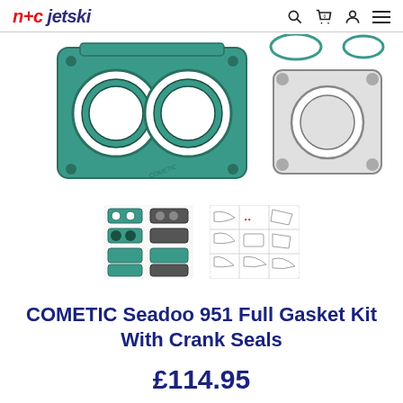n+c jetski
[Figure (photo): Product photo of COMETIC Seadoo 951 Full Gasket Kit With Crank Seals — large green and grey engine gaskets spread out on white background]
[Figure (photo): Two thumbnail images: left shows small gasket set components, right shows parts diagram grid]
COMETIC Seadoo 951 Full Gasket Kit With Crank Seals
£114.95